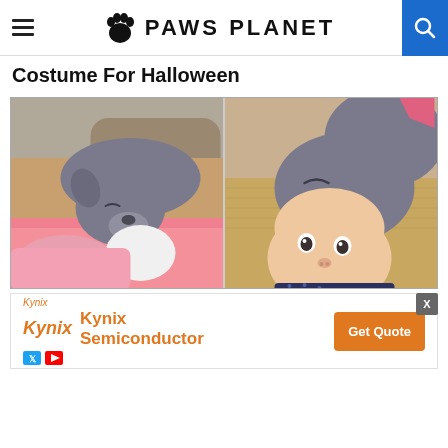Paws Planet
Costume For Halloween
[Figure (photo): Two side-by-side photos of a gray pit bull dog resting near a baby. Left photo shows the dog lying on a couch next to a swaddled baby with a pink blanket. Right photo shows a close-up of the baby looking at the camera with the dog's head resting beside the baby on a woven blanket.]
[Figure (screenshot): Kynix Semiconductor advertisement banner with orange Kynix logo, text 'Kynix Semiconductor', and an orange 'Get Quote' button on the right.]